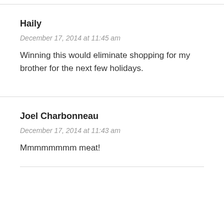Haily
December 17, 2014 at 11:45 am
Winning this would eliminate shopping for my brother for the next few holidays.
Joel Charbonneau
December 17, 2014 at 11:43 am
Mmmmmmmm meat!